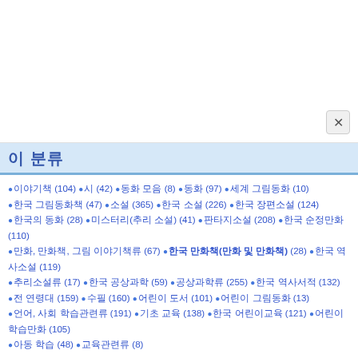이 분류
이야기책 (104) • 시 (42) • 동화 모음 (8) • 동화 (97) • 세계 그림동화 (10)
한국 그림동화책 (47) • 소설 (365) • 한국 소설 (226) • 한국 장편소설 (124)
한국의 동화 (28) • 미스터리(추리 소설) (41) • 판타지소설 (208) • 한국 순정만화 (110)
만화, 만화책, 그림 이야기책류 (67) • 한국 만화책(만화 및 만화책) (28) • 한국 역사소설 (119)
추리소설류 (17) • 한국 공상과학 (59) • 공상과학류 (255) • 한국 역사서적 (132)
전 연령대 (159) • 수필 (160) • 어린이 도서 (101) • 어린이 그림동화 (13)
언어, 사회 학습관련류 (191) • 기초 교육 (138) • 한국 어린이교육 (121) • 어린이 학습만화 (105)
아동 학습 (48) • 교육관련류 (8)